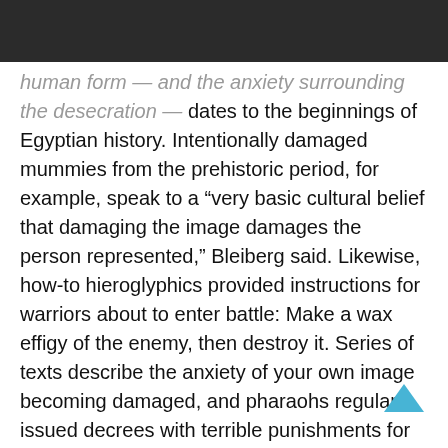Navigation bar with home, menu, search, and shuffle icons
human form — and the anxiety surrounding the desecration — dates to the beginnings of Egyptian history. Intentionally damaged mummies from the prehistoric period, for example, speak to a “very basic cultural belief that damaging the image damages the person represented,” Bleiberg said. Likewise, how-to hieroglyphics provided instructions for warriors about to enter battle: Make a wax effigy of the enemy, then destroy it. Series of texts describe the anxiety of your own image becoming damaged, and pharaohs regularly issued decrees with terrible punishments for anyone who would dare threaten their likeness.
Indeed, “iconoclasm on a grand scale…was primarily political in motive,” Bleiberg writes in the